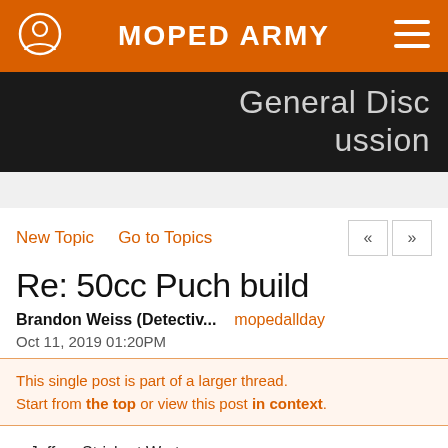MOPED ARMY
General Discussion
New Topic   Go to Topics
Re: 50cc Puch build
Brandon Weiss (Detectiv...   mopedallday
Oct 11, 2019 01:20PM
This single post is part of a larger thread. Start from the top or view this post in context.
> Jeffrey Strichart Wrote: